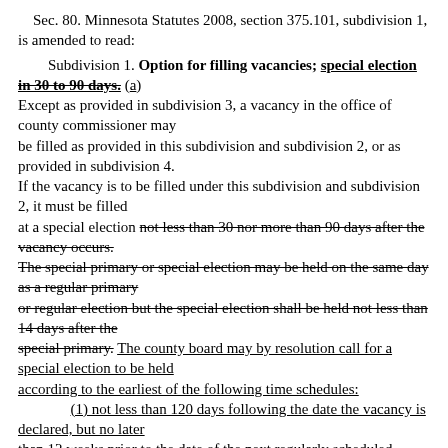Sec. 80. Minnesota Statutes 2008, section 375.101, subdivision 1, is amended to read:
Subdivision 1. Option for filling vacancies; special election in 30 to 90 days. (a) Except as provided in subdivision 3, a vacancy in the office of county commissioner may be filled as provided in this subdivision and subdivision 2, or as provided in subdivision 4. If the vacancy is to be filled under this subdivision and subdivision 2, it must be filled at a special election not less than 30 nor more than 90 days after the vacancy occurs. The special primary or special election may be held on the same day as a regular primary or regular election but the special election shall be held not less than 14 days after the special primary. The county board may by resolution call for a special election to be held according to the earliest of the following time schedules: (1) not less than 120 days following the date the vacancy is declared, but no later than 12 weeks prior to the date of the next regularly scheduled